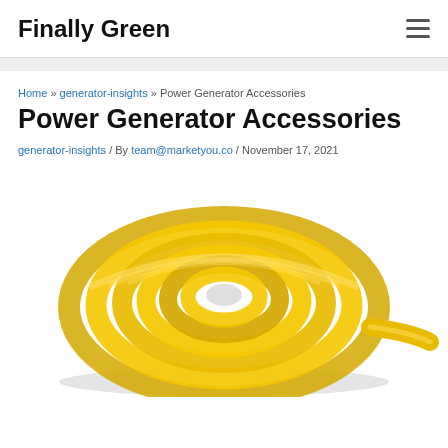Finally Green
Home » generator-insights » Power Generator Accessories
Power Generator Accessories
generator-insights / By team@marketyou.co / November 17, 2021
[Figure (photo): A coiled yellow extension cord or hose viewed from above, tightly wound in a circular spiral shape.]